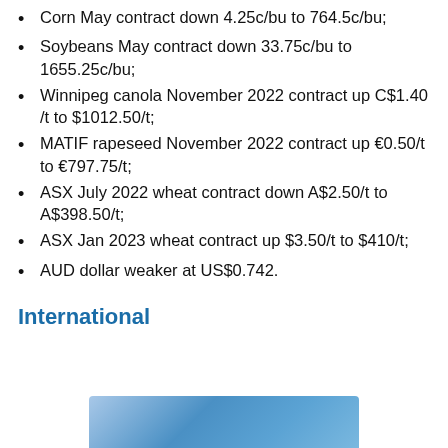Corn May contract down 4.25c/bu to 764.5c/bu;
Soybeans May contract down 33.75c/bu to 1655.25c/bu;
Winnipeg canola November 2022 contract up C$1.40 /t to $1012.50/t;
MATIF rapeseed November 2022 contract up €0.50/t to €797.75/t;
ASX July 2022 wheat contract down A$2.50/t to A$398.50/t;
ASX Jan 2023 wheat contract up $3.50/t to $410/t;
AUD dollar weaker at US$0.742.
International
[Figure (photo): Blue gradient image at bottom of page, partially visible]